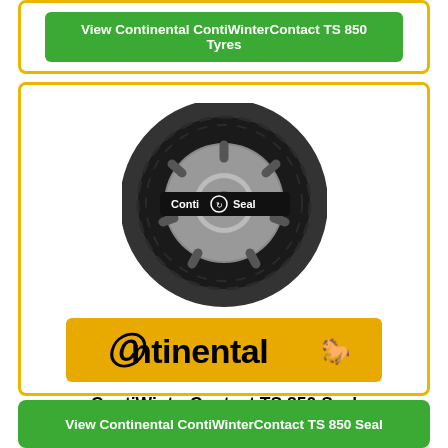View Continental ContiWinterContact TS 850 Tyres
[Figure (photo): Continental ContiWinterContact TS 850 Seal tyre with Conti Seal badge on silver alloy wheel, viewed from the side]
[Figure (logo): Continental brand logo - black text on orange/yellow background rectangle with rearing horse symbol]
ContiWinterContact TS 850 Seal
View Continental ContiWinterContact TS 850 Seal